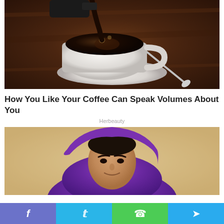[Figure (photo): Overhead view of black coffee being poured from a kettle into a white ceramic cup on a saucer with a spoon, on a dark wooden table]
How You Like Your Coffee Can Speak Volumes About You
Herbeauty
[Figure (photo): Young woman wearing a purple headscarf, smiling, with a light beige wall background]
Facebook  Twitter  WhatsApp  Telegram